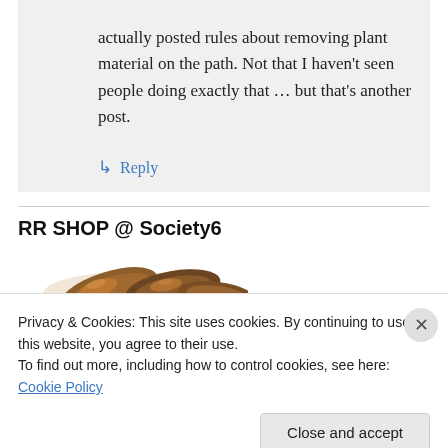actually posted rules about removing plant material on the path. Not that I haven't seen people doing exactly that … but that's another post.
↳ Reply
RR SHOP @ Society6
[Figure (photo): Photo of brown nuts or seeds]
Privacy & Cookies: This site uses cookies. By continuing to use this website, you agree to their use.
To find out more, including how to control cookies, see here: Cookie Policy
Close and accept